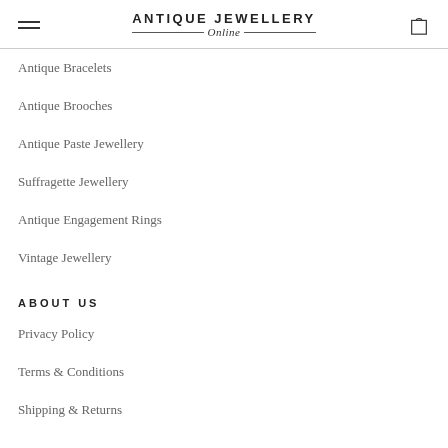ANTIQUE JEWELLERY Online
Antique Bracelets
Antique Brooches
Antique Paste Jewellery
Suffragette Jewellery
Antique Engagement Rings
Vintage Jewellery
ABOUT US
Privacy Policy
Terms & Conditions
Shipping & Returns